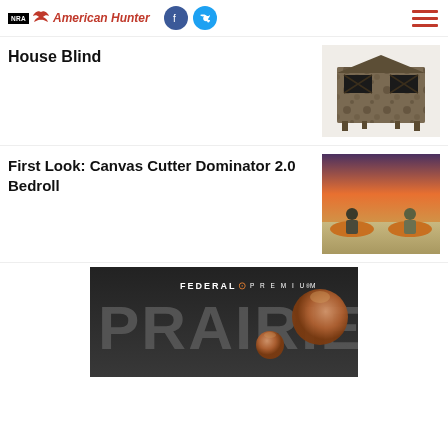NRA American Hunter
House Blind
[Figure (photo): Camouflage hunting house blind on white background]
First Look: Canvas Cutter Dominator 2.0 Bedroll
[Figure (photo): Two hunters sitting on orange bedrolls in an open field at sunset]
[Figure (photo): Federal Premium advertisement showing the word PRAIRIE with copper bullets]